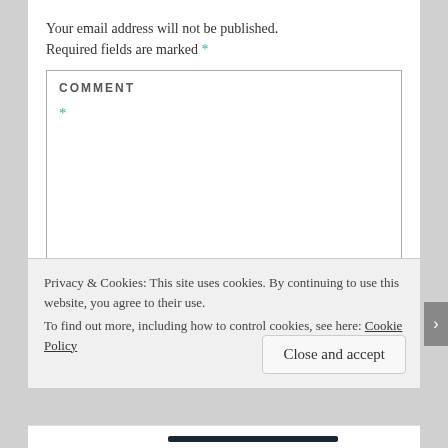Your email address will not be published. Required fields are marked *
COMMENT
*
Privacy & Cookies: This site uses cookies. By continuing to use this website, you agree to their use.
To find out more, including how to control cookies, see here: Cookie Policy
Close and accept